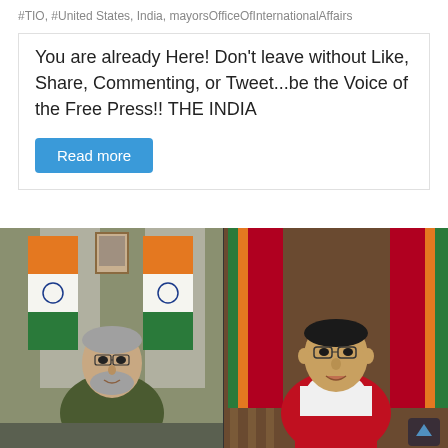#TIO, #United States, India, mayorsOfficeOfInternationalAffairs
You are already Here! Don’t leave without Like, Share, Commenting, or Tweet...be the Voice of the Free Press!!  THE INDIA
Read more
[Figure (photo): Split-screen video call: on the left, an elderly grey-haired man in a dark olive sweater seated in front of two Indian tricolor flags and a framed photo on the wall; on the right, a younger man in glasses and a red-and-white ceremonial outfit seated in front of two Sri Lankan flags.]